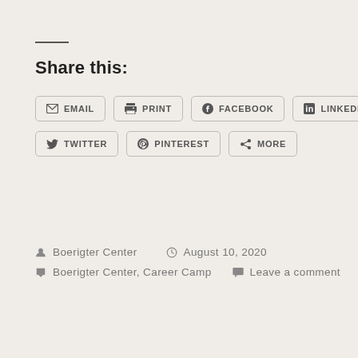Share this:
EMAIL
PRINT
FACEBOOK
LINKEDIN
TWITTER
PINTEREST
MORE
Boerigter Center   August 10, 2020
Boerigter Center, Career Camp   Leave a comment